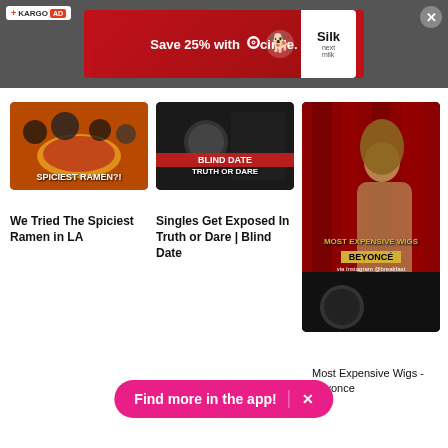[Figure (screenshot): Kargo ad banner with Target Circle and Silk Next Milk advertisement on grey background with close button]
[Figure (screenshot): Thumbnail for 'We Tried The Spiciest Ramen in LA' video with text SPICIEST RAMEN?! overlay]
We Tried The Spiciest Ramen in LA
[Figure (screenshot): Thumbnail for 'Singles Get Exposed In Truth or Dare | Blind Date' video with BLIND DATE TRUTH OR DARE overlay]
Singles Get Exposed In Truth or Dare | Blind Date
[Figure (screenshot): Thumbnail for Beyonce Most Expensive Wigs video with MOST EXPENSIVE WIGS BEYONCÉ overlay]
Most Expensive Wigs - Beyonce
[Figure (screenshot): Find more in the app! button bar in pink/magenta with X close button]